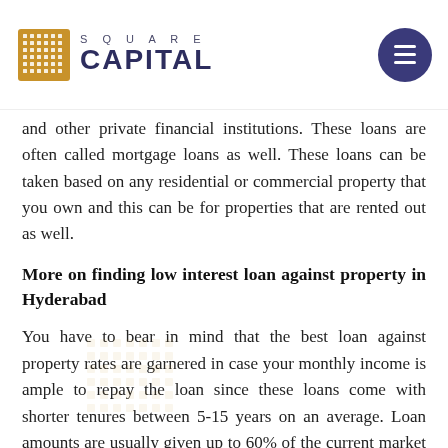SQUARE CAPITAL
and other private financial institutions. These loans are often called mortgage loans as well. These loans can be taken based on any residential or commercial property that you own and this can be for properties that are rented out as well.
More on finding low interest loan against property in Hyderabad
You have to bear in mind that the best loan against property rates are garnered in case your monthly income is ample to repay the loan since these loans come with shorter tenures between 5-15 years on an average. Loan amounts are usually given up to 60% of the current market value of the property in question and this is assessed independently by affiliated agencies of the bank or organization or banking personnel. Finding the best loans against property in Hyderabad is possible with the right guidance and advice.